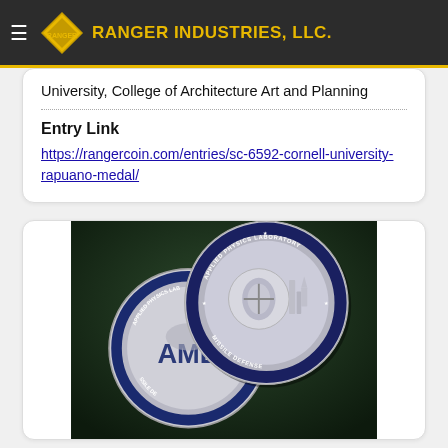RANGER INDUSTRIES, LLC.
University, College of Architecture Art and Planning
Entry Link
https://rangercoin.com/entries/sc-6592-cornell-university-rapuano-medal/
[Figure (photo): Two silver challenge coins for Applied Physics Laboratory Missile Defense, shown on a dark green background. The coins display the APL logo, an eagle, and missile defense imagery with blue enamel borders.]